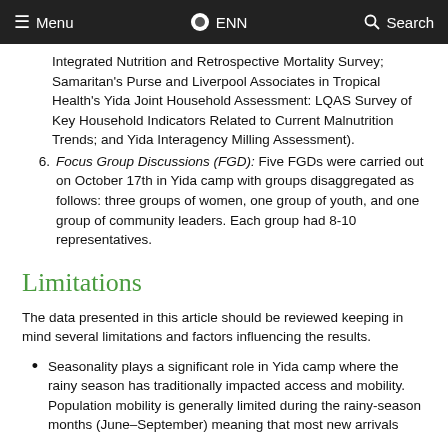Menu   ENN   Search
Integrated Nutrition and Retrospective Mortality Survey; Samaritan's Purse and Liverpool Associates in Tropical Health's Yida Joint Household Assessment: LQAS Survey of Key Household Indicators Related to Current Malnutrition Trends; and Yida Interagency Milling Assessment).
6. Focus Group Discussions (FGD): Five FGDs were carried out on October 17th in Yida camp with groups disaggregated as follows: three groups of women, one group of youth, and one group of community leaders. Each group had 8-10 representatives.
Limitations
The data presented in this article should be reviewed keeping in mind several limitations and factors influencing the results.
Seasonality plays a significant role in Yida camp where the rainy season has traditionally impacted access and mobility. Population mobility is generally limited during the rainy-season months (June–September) meaning that most new arrivals